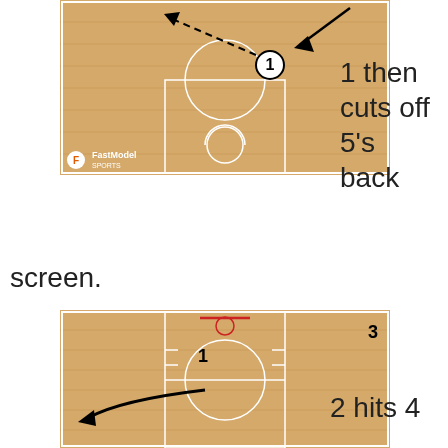[Figure (illustration): Basketball half-court diagram on wood floor showing player 1 with dashed arrow movement and a solid arrow. FastModel Sports logo in bottom-left corner.]
1 then cuts off 5's back screen.
[Figure (illustration): Basketball half-court diagram on wood floor showing players 1 and 3, with a curved arrow movement on the left side.]
2 hits 4